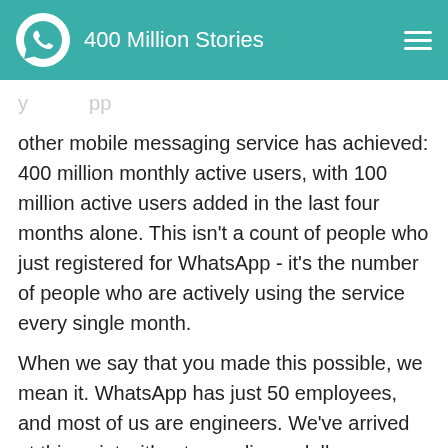400 Million Stories
other mobile messaging service has achieved: 400 million monthly active users, with 100 million active users added in the last four months alone. This isn't a count of people who just registered for WhatsApp - it's the number of people who are actively using the service every single month.
When we say that you made this possible, we mean it. WhatsApp has just 50 employees, and most of us are engineers. We've arrived at this point without spending a dollar on targeted ads or big marketing campaigns. We're here because of all the people who share their WhatsApp stories with co-workers, friends, and loved ones - stories we love to hear.